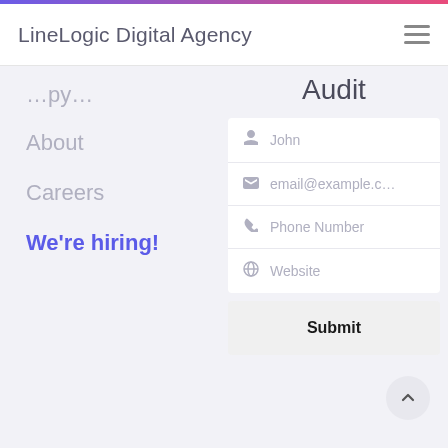LineLineLogic Digital Agency
Audit
About
Careers
We're hiring!
[Figure (screenshot): Contact form with fields for John (name), email@example.c..., Phone Number, Website, and a Submit button]